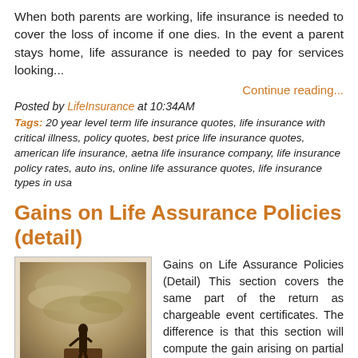When both parents are working, life insurance is needed to cover the loss of income if one dies. In the event a parent stays home, life assurance is needed to pay for services looking...
Continue reading...
Posted by LifeInsurance at 10:34AM
Tags: 20 year level term life insurance quotes, life insurance with critical illness, policy quotes, best price life insurance quotes, american life insurance, aetna life insurance company, life insurance policy rates, auto ins, online life assurance quotes, life insurance types in usa
Gains on Life Assurance Policies (detail)
[Figure (photo): Vintage sepia-toned photograph showing a person standing on a rocky outcrop or monument against a dramatic cloudy sky, in a romantic/historical artistic style]
Gains on Life Assurance Policies (Detail) This section covers the same part of the return as chargeable event certificates. The difference is that this section will compute the gain arising on partial withdrawal or encashment. To do so it requires details of all withdrawals made during the life of the policy...